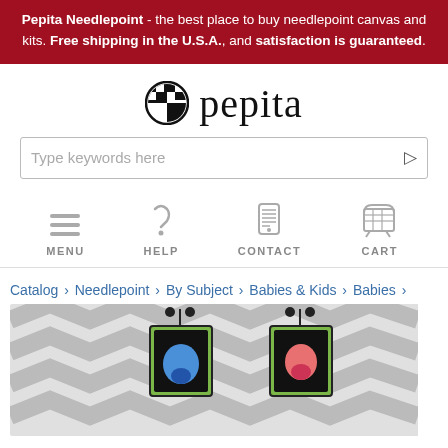Pepita Needlepoint - the best place to buy needlepoint canvas and kits. Free shipping in the U.S.A., and satisfaction is guaranteed.
[Figure (logo): Pepita logo with checkerboard icon and text 'pepita' in serif font]
Type keywords here
[Figure (infographic): Navigation icons: MENU (hamburger), HELP (question mark), CONTACT (phone), CART (shopping cart)]
Catalog › Needlepoint › By Subject › Babies & Kids › Babies ›
[Figure (photo): Needlepoint canvas product image showing chevron pattern background with two hanging ornament canvases featuring baby designs]